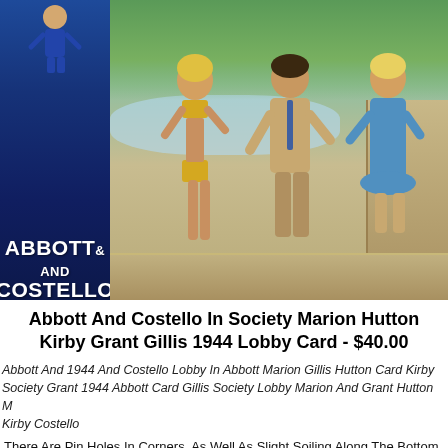[Figure (photo): Abbott and Costello in Society 1944 lobby card photo showing pool scene with woman in yellow swimsuit, man in tan suit, woman in blue dress, and Abbott & Costello movie poster banner on left]
Abbott And Costello In Society Marion Hutton Kirby Grant Gillis 1944 Lobby Card - $40.00
Abbott And 1944 And Costello Lobby In Abbott Marion Gillis Hutton Card Kirby Society Grant 1944 Abbott Card Gillis Society Lobby Marion And Grant Hutton Marion Kirby Costello
There Are Pin Holes In Corners, As Well As Slight Soiling Along The Bottom Border And A Few Nicks Along The Left Border. Condition Is Very Good Fine.